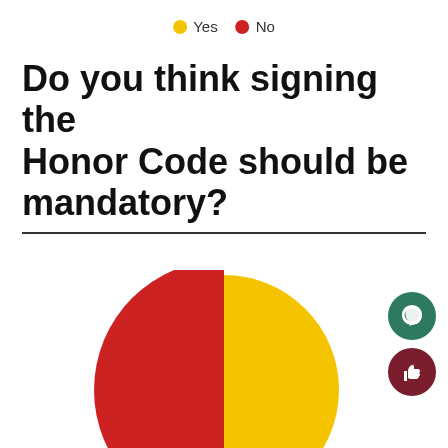[Figure (other): Legend showing yellow dot = Yes, red dot = No]
Do you think signing the Honor Code should be mandatory?
[Figure (pie-chart): Do you think signing the Honor Code should be mandatory?]